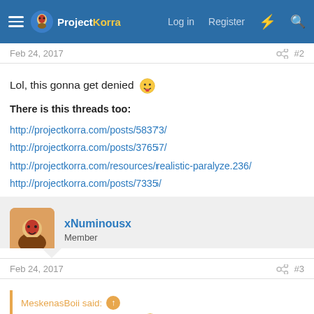ProjectKorra — Log in  Register
Feb 24, 2017  #2
Lol, this gonna get denied 😛

There is this threads too:
http://projectkorra.com/posts/58373/
http://projectkorra.com/posts/37657/
http://projectkorra.com/resources/realistic-paralyze.236/
http://projectkorra.com/posts/7335/
xNuminousx
Member
Feb 24, 2017  #3
MeskenasBoii said: ↑
Lol, this gonna get denied 😛